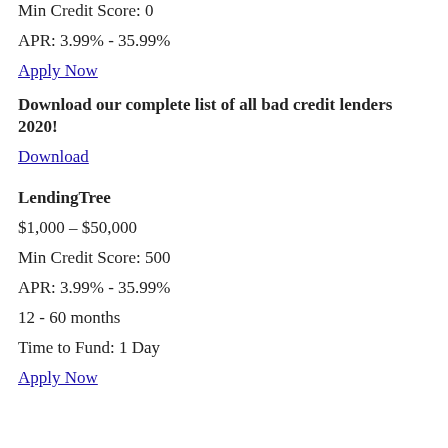Min Credit Score: 0
APR: 3.99% - 35.99%
Apply Now
Download our complete list of all bad credit lenders 2020!
Download
LendingTree
$1,000 – $50,000
Min Credit Score: 500
APR: 3.99% - 35.99%
12 - 60 months
Time to Fund: 1 Day
Apply Now